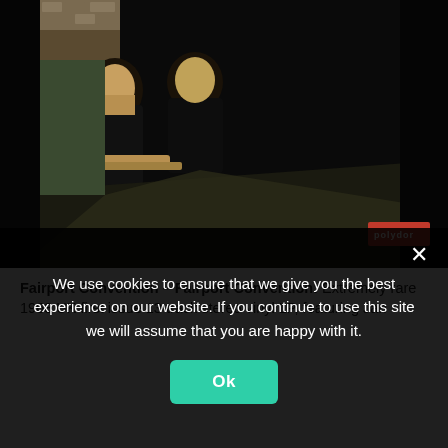[Figure (photo): Album cover for Fairport Convention – Fairport Convention. Dark background with two figures in dark clothing. A Polydor label badge is visible in the bottom right corner.]
Fairport Convention – Fairport Convention: Extremely rare 1968 UK first issue 13 track stereo vinyl LP, featuring Jan...
We use cookies to ensure that we give you the best experience on our website. If you continue to use this site we will assume that you are happy with it.